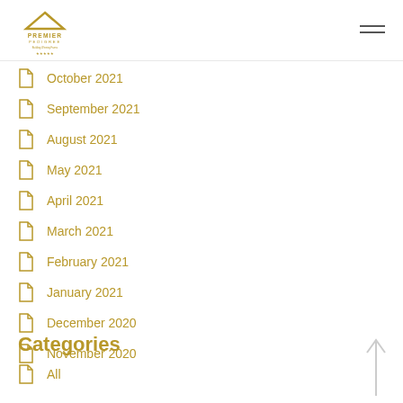Premier Pedigree
October 2021
September 2021
August 2021
May 2021
April 2021
March 2021
February 2021
January 2021
December 2020
November 2020
Categories
All